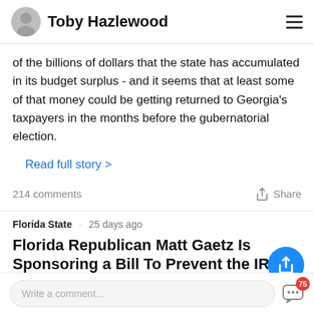Toby Hazlewood
of the billions of dollars that the state has accumulated in its budget surplus - and it seems that at least some of that money could be getting returned to Georgia's taxpayers in the months before the gubernatorial election.
Read full story >
214 comments    Share
Florida State   25 days ago
Florida Republican Matt Gaetz Is Sponsoring a Bill To Prevent the IRS